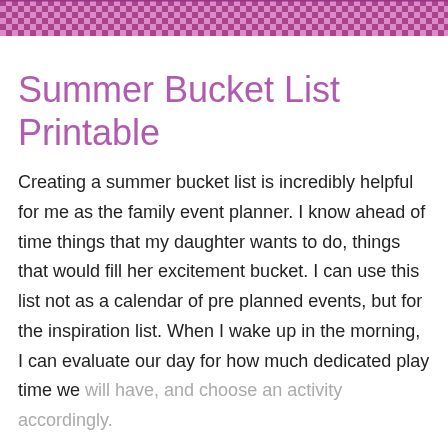[Figure (other): Decorative zigzag/chevron pattern banner strip in pink/purple colors at top of page]
Summer Bucket List Printable
Creating a summer bucket list is incredibly helpful for me as the family event planner. I know ahead of time things that my daughter wants to do, things that would fill her excitement bucket. I can use this list not as a calendar of pre planned events, but for the inspiration list. When I wake up in the morning, I can evaluate our day for how much dedicated play time we will have, and choose an activity accordingly.